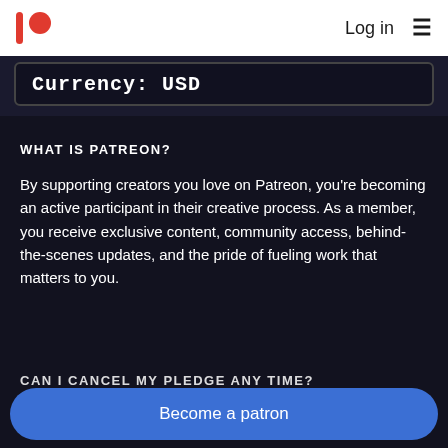Log in
Currency: USD
WHAT IS PATREON?
By supporting creators you love on Patreon, you're becoming an active participant in their creative process. As a member, you receive exclusive content, community access, behind-the-scenes updates, and the pride of fueling work that matters to you.
CAN I CANCEL MY PLEDGE ANY TIME?
Become a patron